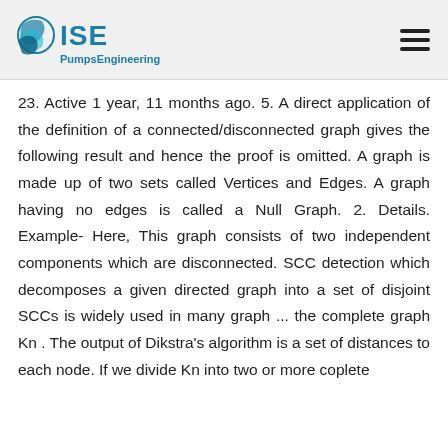ISE PumpsEngineering
23. Active 1 year, 11 months ago. 5. A direct application of the definition of a connected/disconnected graph gives the following result and hence the proof is omitted. A graph is made up of two sets called Vertices and Edges. A graph having no edges is called a Null Graph. 2. Details. Example- Here, This graph consists of two independent components which are disconnected. SCC detection which decomposes a given directed graph into a set of disjoint SCCs is widely used in many graph ... the complete graph Kn . The output of Dikstra's algorithm is a set of distances to each node. If we divide Kn into two or more coplete